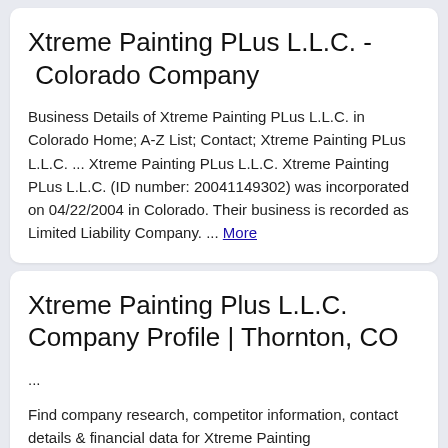Xtreme Painting PLus L.L.C. - Colorado Company
Business Details of Xtreme Painting PLus L.L.C. in Colorado Home; A-Z List; Contact; Xtreme Painting PLus L.L.C. ... Xtreme Painting PLus L.L.C. Xtreme Painting PLus L.L.C. (ID number: 20041149302) was incorporated on 04/22/2004 in Colorado. Their business is recorded as Limited Liability Company. ... More
Xtreme Painting Plus L.L.C. Company Profile | Thornton, CO
...
Find company research, competitor information, contact details & financial data for Xtreme Painting